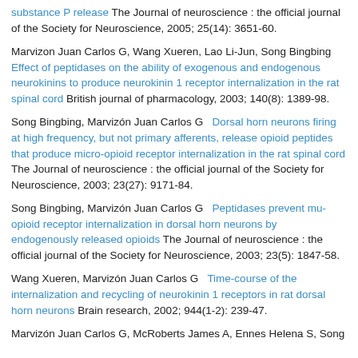...substance P release The Journal of neuroscience : the official journal of the Society for Neuroscience, 2005; 25(14): 3651-60.
Marvizon Juan Carlos G, Wang Xueren, Lao Li-Jun, Song Bingbing Effect of peptidases on the ability of exogenous and endogenous neurokinins to produce neurokinin 1 receptor internalization in the rat spinal cord British journal of pharmacology, 2003; 140(8): 1389-98.
Song Bingbing, Marvizón Juan Carlos G   Dorsal horn neurons firing at high frequency, but not primary afferents, release opioid peptides that produce micro-opioid receptor internalization in the rat spinal cord The Journal of neuroscience : the official journal of the Society for Neuroscience, 2003; 23(27): 9171-84.
Song Bingbing, Marvizón Juan Carlos G   Peptidases prevent mu-opioid receptor internalization in dorsal horn neurons by endogenously released opioids The Journal of neuroscience : the official journal of the Society for Neuroscience, 2003; 23(5): 1847-58.
Wang Xueren, Marvizón Juan Carlos G   Time-course of the internalization and recycling of neurokinin 1 receptors in rat dorsal horn neurons Brain research, 2002; 944(1-2): 239-47.
Marvizón Juan Carlos G, McRoberts James A, Ennes Helena S, Song...